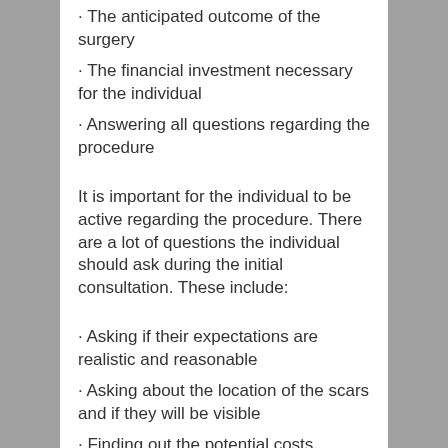· The anticipated outcome of the surgery
· The financial investment necessary for the individual
· Answering all questions regarding the procedure
It is important for the individual to be active regarding the procedure. There are a lot of questions the individual should ask during the initial consultation. These include:
· Asking if their expectations are realistic and reasonable
· Asking about the location of the scars and if they will be visible
· Finding out the potential costs